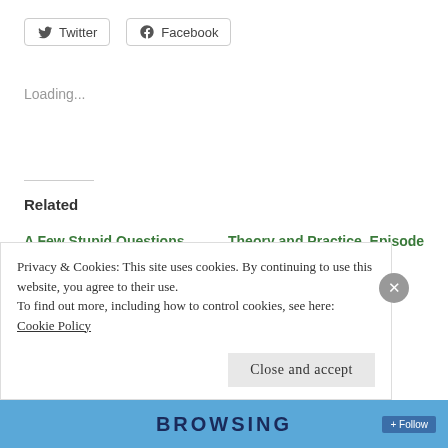[Figure (other): Twitter and Facebook share buttons]
Loading...
Related
A Few Stupid Questions
February 19, 2016
In "Philosophy"
Theory and Practice, Episode Two
February 18, 2016
In "Philosophy"
Why Bother?
January 20, 2014
Privacy & Cookies: This site uses cookies. By continuing to use this website, you agree to their use. To find out more, including how to control cookies, see here: Cookie Policy
Close and accept